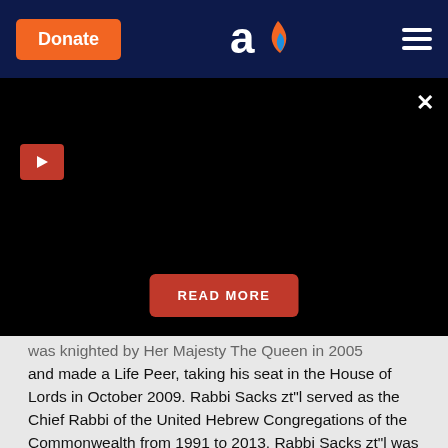[Figure (screenshot): Aish.com website navigation bar with orange Donate button, Aish logo (letter 'a' with flame), and hamburger menu on dark navy background]
[Figure (screenshot): Black video player area with red play button on left, close X button top right, and red READ MORE button in center]
was knighted by Her Majesty The Queen in 2005 and made a Life Peer, taking his seat in the House of Lords in October 2009. Rabbi Sacks zt"l served as the Chief Rabbi of the United Hebrew Congregations of the Commonwealth from 1991 to 2013. Rabbi Sacks zt"l was born on the 8th March 1948 and passed away on the 7th November 2020 (Shabbat Kodesh 20th MarCheshvan 5781). These weekly teachings from Rabbi Sacks zt"l are part of the 'Covenant &